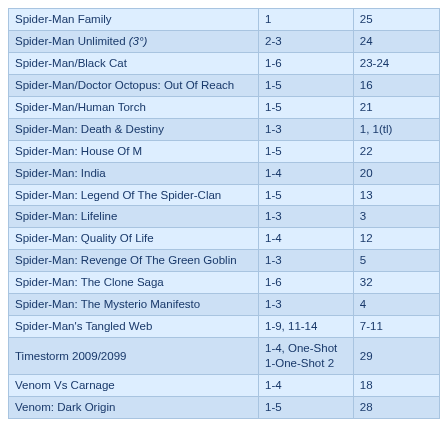| Spider-Man Family | 1 | 25 |
| Spider-Man Unlimited (3°) | 2-3 | 24 |
| Spider-Man/Black Cat | 1-6 | 23-24 |
| Spider-Man/Doctor Octopus: Out Of Reach | 1-5 | 16 |
| Spider-Man/Human Torch | 1-5 | 21 |
| Spider-Man: Death & Destiny | 1-3 | 1, 1(tl) |
| Spider-Man: House Of M | 1-5 | 22 |
| Spider-Man: India | 1-4 | 20 |
| Spider-Man: Legend Of The Spider-Clan | 1-5 | 13 |
| Spider-Man: Lifeline | 1-3 | 3 |
| Spider-Man: Quality Of Life | 1-4 | 12 |
| Spider-Man: Revenge Of The Green Goblin | 1-3 | 5 |
| Spider-Man: The Clone Saga | 1-6 | 32 |
| Spider-Man: The Mysterio Manifesto | 1-3 | 4 |
| Spider-Man's Tangled Web | 1-9, 11-14 | 7-11 |
| Timestorm 2009/2099 | 1-4, One-Shot 1-One-Shot 2 | 29 |
| Venom Vs Carnage | 1-4 | 18 |
| Venom: Dark Origin | 1-5 | 28 |